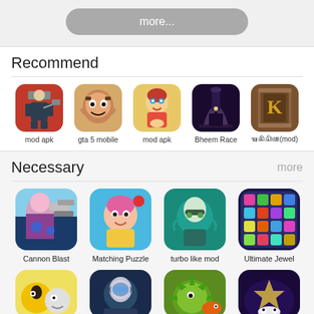more...
Recommend
[Figure (screenshot): App icon: Jason/horror game mod apk (red background with character holding knife)]
mod apk
[Figure (screenshot): App icon: GTA 5 mobile (cartoon angry face)]
gta 5 mobile
[Figure (screenshot): App icon: mod apk (anime girl with red hood, colorful)]
mod apk
[Figure (screenshot): App icon: Bheem Race (dark spooky arch gate)]
Bheem Race
[Figure (screenshot): App icon: wooden door with letter K (mod)]
ꦒꦤꦼꦱꦼꦲ(mod)
Necessary
more
[Figure (screenshot): App icon: Cannon Blast (sci-fi shooter girl with pink hair)]
Cannon Blast
[Figure (screenshot): App icon: Matching Puzzle (cartoon girl with pink hair and red dot notification)]
Matching Puzzle
[Figure (screenshot): App icon: turbo like mod (person in hat, teal)]
turbo like mod
[Figure (screenshot): App icon: Ultimate Jewel (colorful gem match puzzle grid)]
Ultimate Jewel
[Figure (screenshot): App icon: Pokemon style game (Pikachu-like character)]
[Figure (screenshot): App icon: sci-fi soldier with visor]
[Figure (screenshot): App icon: green spiky ball fish with orange]
[Figure (screenshot): App icon: purple cosmic scene with animal]